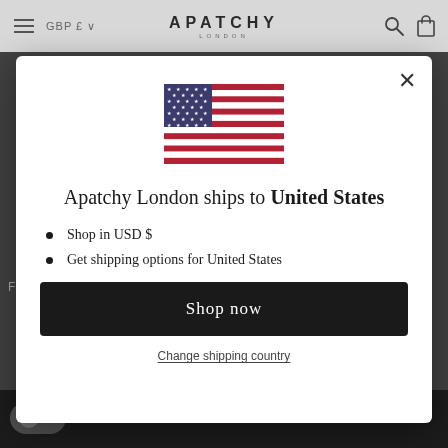[Figure (screenshot): Apatchy London e-commerce website header with hamburger menu, GBP £ currency selector, Apatchy London logo, search icon, and bag icon on a light grey background]
[Figure (illustration): United States flag shown in the modal dialog]
Apatchy London ships to United States
Shop in USD $
Get shipping options for United States
Shop now
Change shipping country